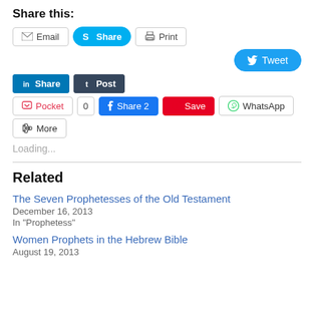Share this:
[Figure (screenshot): Social sharing buttons: Email, Skype Share, Print, Tweet, LinkedIn Share, Tumblr Post, Pocket, 0, Facebook Share 2, Pinterest Save, WhatsApp, More]
Loading...
Related
The Seven Prophetesses of the Old Testament
December 16, 2013
In "Prophetess"
Women Prophets in the Hebrew Bible
August 19, 2013